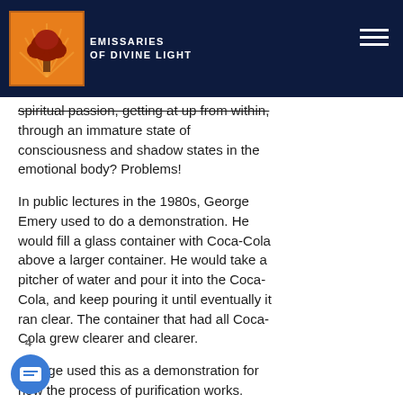EMISSARIES OF DIVINE LIGHT
spiritual passion, getting at up from within, through an immature state of consciousness and shadow states in the emotional body? Problems!
In public lectures in the 1980s, George Emery used to do a demonstration. He would fill a glass container with Coca-Cola above a larger container. He would take a pitcher of water and pour it into the Coca-Cola, and keep pouring it until eventually it ran clear. The container that had all Coca-Cola grew clearer and clearer.
George used this as a demonstration for how the process of purification works. When we connect spiritually and allow the